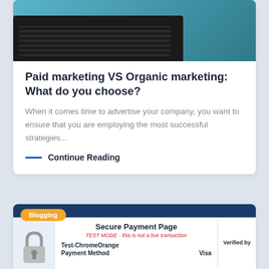[Figure (photo): Person typing on a laptop keyboard, photographed from above with a teal/blue background]
Paid marketing VS Organic marketing: What do you choose?
When it comes time to advertise your company, you want to ensure that you are employing the most successful strategies...
Continue Reading
[Figure (screenshot): Partial screenshot of a secure payment page in test mode. Shows 'Blogging' badge in orange, a padlock image, 'Secure Payment Page' heading, 'TEST MODE - this is not a live transaction' in red, 'Test-ChromeOrange', 'Payment Method', 'Visa', and 'Verified by' text]